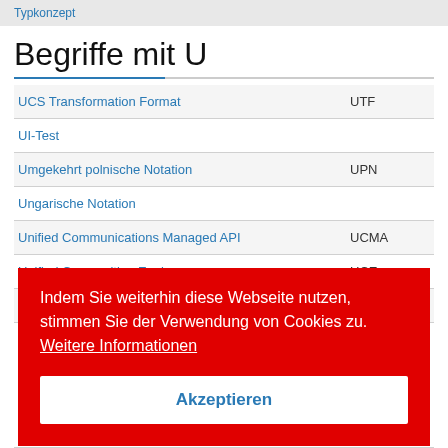Typkonzept
Begriffe mit U
| Term | Abbreviation |
| --- | --- |
| UCS Transformation Format | UTF |
| UI-Test |  |
| Umgekehrt polnische Notation | UPN |
| Ungarische Notation |  |
| Unified Communications Managed API | UCMA |
| Unified Composition Engine | UCE |
| Unified Dimensional Model | UDM |
Indem Sie weiterhin diese Webseite nutzen, stimmen Sie der Verwendung von Cookies zu.  Weitere Informationen
Akzeptieren
Universal Character Set